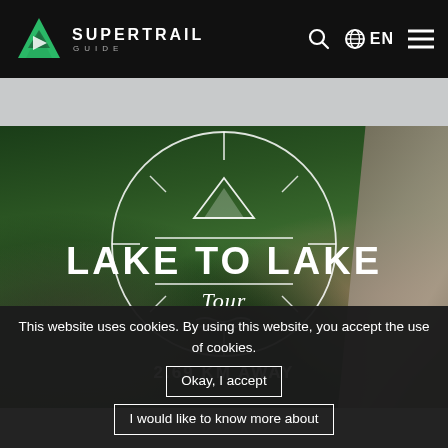SUPERTRAIL GUIDE — EN
[Figure (screenshot): Hero photo of mountain bikers on a trail through forest, aerial/overhead perspective, overlaid with circular Lake to Lake Tour emblem and distance text '2.69 KM AWAY']
LAKE TO LAKE
Tour
2.69 KM AWAY
This website uses cookies. By using this website, you accept the use of cookies.
Okay, I accept
I would like to know more about